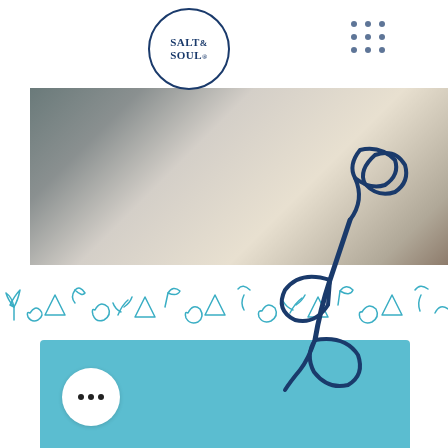[Figure (logo): Salt & Soul circular logo with serif text inside a circle border]
[Figure (photo): Interior room photo showing a living/dining space with dark sofa, patterned rug, and wooden dining table]
[Figure (illustration): Dark navy blue hand-drawn botanical leaf/branch illustration overlaid on the photo and white area]
[Figure (illustration): Teal decorative pattern band with repeating botanical motifs including leaves, triangles, and swirls]
[Figure (other): Solid teal/sky-blue colored rectangle card in the lower portion of the page]
[Figure (other): White circular button with three dark dots (ellipsis/more options button) in the lower left corner]